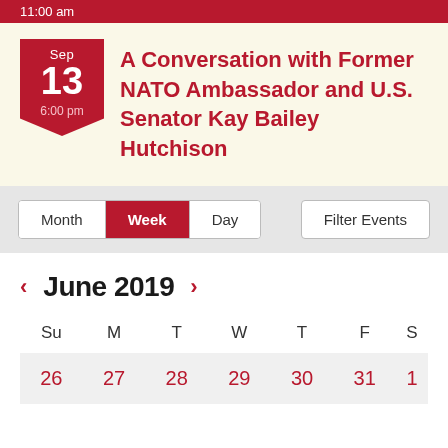11:00 am
A Conversation with Former NATO Ambassador and U.S. Senator Kay Bailey Hutchison
Sep 13 6:00 pm
Month | Week | Day | Filter Events
June 2019
| Su | M | T | W | T | F | S |
| --- | --- | --- | --- | --- | --- | --- |
| 26 | 27 | 28 | 29 | 30 | 31 | 1 |